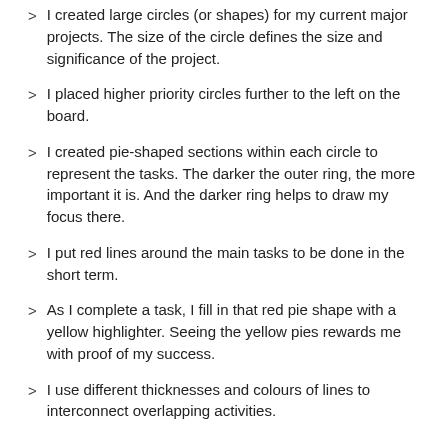I created large circles (or shapes) for my current major projects. The size of the circle defines the size and significance of the project.
I placed higher priority circles further to the left on the board.
I created pie-shaped sections within each circle to represent the tasks. The darker the outer ring, the more important it is. And the darker ring helps to draw my focus there.
I put red lines around the main tasks to be done in the short term.
As I complete a task, I fill in that red pie shape with a yellow highlighter. Seeing the yellow pies rewards me with proof of my success.
I use different thicknesses and colours of lines to interconnect overlapping activities.